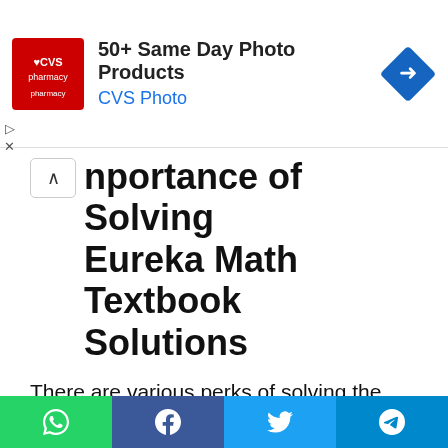[Figure (other): CVS Pharmacy advertisement banner with logo, '50+ Same Day Photo Products' headline, 'CVS Photo' subtext, and a blue navigation arrow icon]
nportance of Solving Eureka Math Textbook Solutions
There are various perks of solving the Gradewise Eureka Math Book Answers provided here. We have outlined the major benefits for your learning. They are in the below fashion
Eureka Math Answers provided acts as a full complement for Pre K – 12